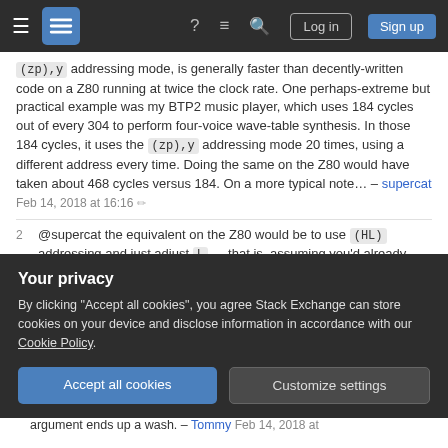Stack Exchange navigation bar with hamburger menu, logo, help, chat, search icons, Log in and Sign up buttons
(zp),y addressing mode, is generally faster than decently-written code on a Z80 running at twice the clock rate. One perhaps-extreme but practical example was my BTP2 music player, which uses 184 cycles out of every 304 to perform four-voice wave-table synthesis. In those 184 cycles, it uses the (zp),y addressing mode 20 times, using a different address every time. Doing the same on the Z80 would have taken about 468 cycles versus 184. On a more typical note... – supercat Feb 14, 2018 at 16:16 ✎
2  @supercat the equivalent on the Z80 would be to use (HL) addressing and just adjust L — that is, assuming you'd already optimised your tables not to
Your privacy
By clicking "Accept all cookies", you agree Stack Exchange can store cookies on your device and disclose information in accordance with our Cookie Policy.
Accept all cookies  Customize settings
argument ends up a wash. – Tommy Feb 14, 2018 at